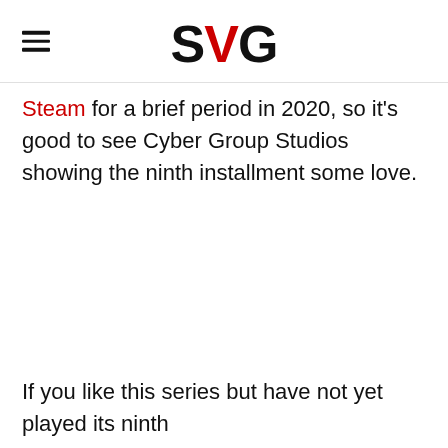SVG
Steam for a brief period in 2020, so it's good to see Cyber Group Studios showing the ninth installment some love.
If you like this series but have not yet played its ninth